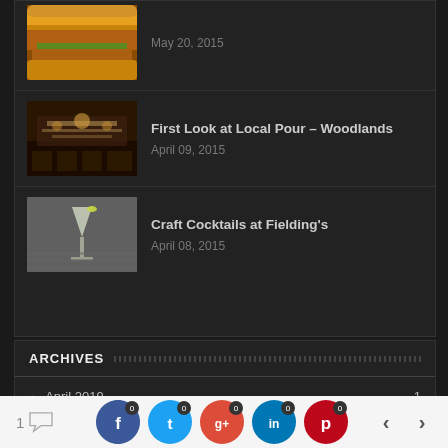[Figure (photo): Partial burger photo thumbnail, top of page]
May 20, 2015
[Figure (photo): Restaurant interior thumbnail]
First Look at Local Pour – Woodlands
April 09, 2015
[Figure (photo): Cocktail martini glass thumbnail]
Craft Cocktails at Fielding's
April 08, 2015
ARCHIVES
April 2019  1
February 2019  1
September 2018  1